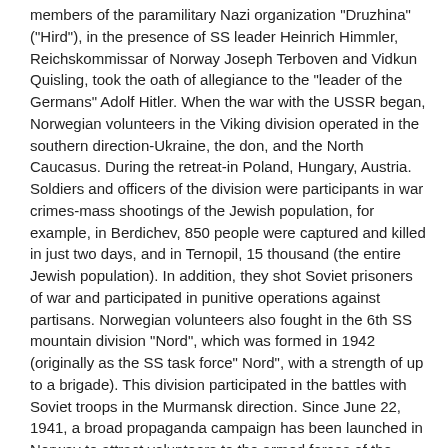members of the paramilitary Nazi organization "Druzhina" ("Hird"), in the presence of SS leader Heinrich Himmler, Reichskommissar of Norway Joseph Terboven and Vidkun Quisling, took the oath of allegiance to the "leader of the Germans" Adolf Hitler. When the war with the USSR began, Norwegian volunteers in the Viking division operated in the southern direction-Ukraine, the don, and the North Caucasus. During the retreat-in Poland, Hungary, Austria. Soldiers and officers of the division were participants in war crimes-mass shootings of the Jewish population, for example, in Berdichev, 850 people were captured and killed in just two days, and in Ternopil, 15 thousand (the entire Jewish population). In addition, they shot Soviet prisoners of war and participated in punitive operations against partisans. Norwegian volunteers also fought in the 6th SS mountain division "Nord", which was formed in 1942 (originally as the SS task force" Nord", with a strength of up to a brigade). This division participated in the battles with Soviet troops in the Murmansk direction. Since June 22, 1941, a broad propaganda campaign has been launched in Norway to attract volunteers to the armed forces of the Reich. Recruitment centers were opened in Norwegian cities, where more than 2 thousand people came. By the end of July, the first three hundred volunteers were sent to Kiel, where there were training camps. On August 1, the creation of the "Norway" Legion was officially announced, and two weeks later it included 700 Norwegian volunteers and several dozen Norwegian